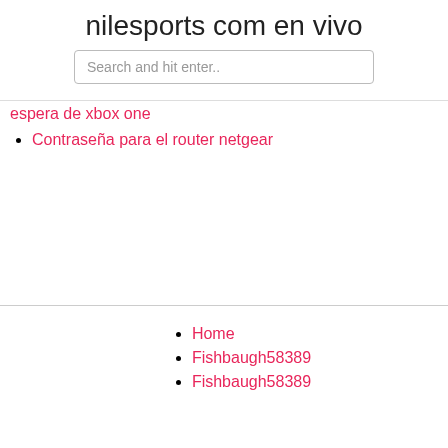nilesports com en vivo
Search and hit enter..
espera de xbox one
Contraseña para el router netgear
Home
Fishbaugh58389
Fishbaugh58389